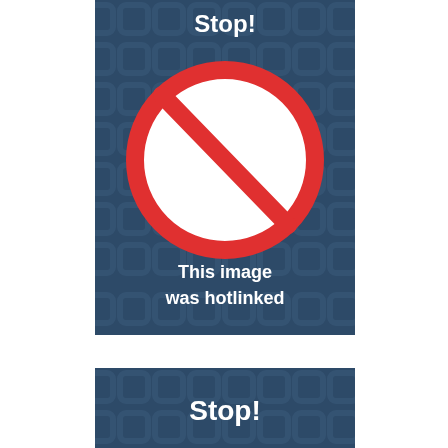[Figure (infographic): A hotlink protection warning image on a dark blue patterned background showing a red prohibition circle/slash symbol and the text 'Stop!' at top and 'This image was hotlinked' in white bold text below the symbol.]
[Figure (infographic): A second partial hotlink protection warning image on a dark blue patterned background showing 'Stop!' in white bold text.]